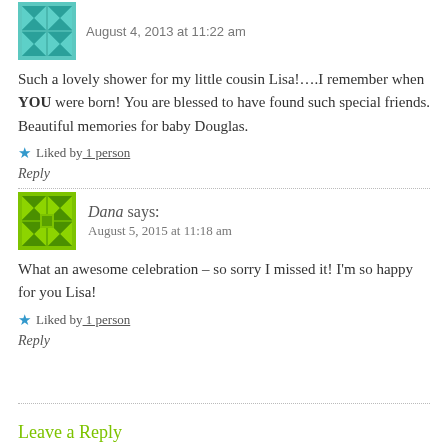[Figure (illustration): Partial teal/cyan avatar icon at top left, cropped]
Such a lovely shower for my little cousin Lisa!….I remember when YOU were born! You are blessed to have found such special friends. Beautiful memories for baby Douglas.
★ Liked by 1 person
Reply
[Figure (illustration): Green quilt-pattern avatar icon for user Dana]
Dana says:
August 5, 2015 at 11:18 am
What an awesome celebration – so sorry I missed it! I'm so happy for you Lisa!
★ Liked by 1 person
Reply
Leave a Reply